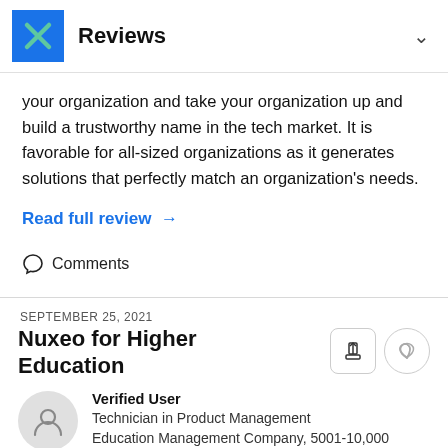Reviews
your organization and take your organization up and build a trustworthy name in the tech market. It is favorable for all-sized organizations as it generates solutions that perfectly match an organization's needs.
Read full review →
Comments
SEPTEMBER 25, 2021
Nuxeo for Higher Education
Verified User
Technician in Product Management
Education Management Company, 5001-10,000 employees